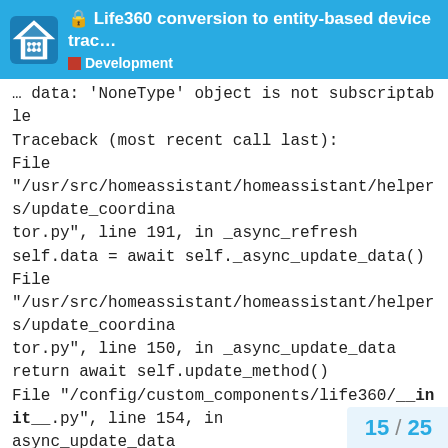Life360 conversion to entity-based device trac… Development
data: 'NoneType' object is not subscriptable
Traceback (most recent call last):
File "/usr/src/homeassistant/homeassistant/helpers/update_coordinator.py", line 191, in _async_refresh
self.data = await self._async_update_data()
File "/usr/src/homeassistant/homeassistant/helpers/update_coordinator.py", line 150, in _async_update_data
return await self.update_method()
File "/config/custom_components/life360/__init__.py", line 154, in async_update_data
return await get_life360_data(hass, api)
File "/config/custom_components/life360/helpers.py", line 171, in get_life360_data
place = loc["name"] or "None"
TypeError: 'NoneType' object is not subscriptable
15 / 25